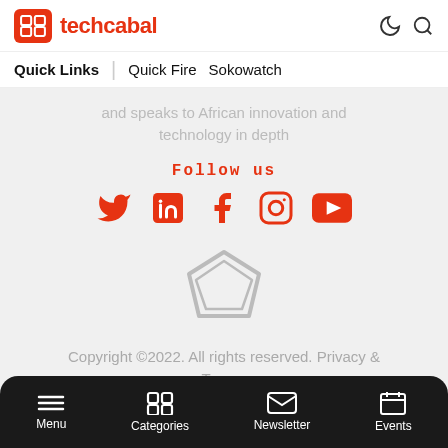techcabal
Quick Links | Quick Fire  Sokowatch
and speaks to African innovation and technology in depth
Follow us
[Figure (infographic): Social media icons: Twitter, LinkedIn, Facebook, Instagram, YouTube — all in orange/red color]
[Figure (logo): Polygon/pentagon shaped icon outline in grey]
Copyright ©2022. All rights reserved. Privacy & Terms.
Menu  Categories  Newsletter  Events